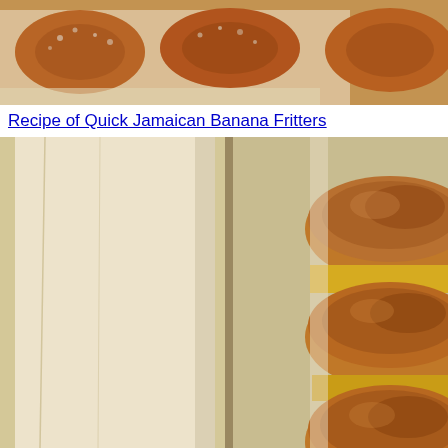[Figure (photo): Close-up photo of baked or fried pastries dusted with powdered sugar, showing golden-brown tops on parchment paper, top portion cropped]
Recipe of Quick Jamaican Banana Fritters
[Figure (photo): Photo of stacked round golden-brown fritters or pancakes layered with yellow filling, placed on a wooden surface with parchment paper, viewed from the side]